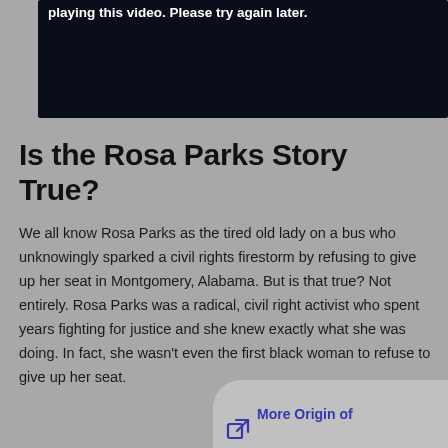[Figure (screenshot): Dark navy video player box showing an error message text at the top in white bold font: 'playing this video. Please try again later.']
Is the Rosa Parks Story True?
We all know Rosa Parks as the tired old lady on a bus who unknowingly sparked a civil rights firestorm by refusing to give up her seat in Montgomery, Alabama. But is that true? Not entirely. Rosa Parks was a radical, civil right activist who spent years fighting for justice and she knew exactly what she was doing. In fact, she wasn't even the first black woman to refuse to give up her seat.
More Origin of